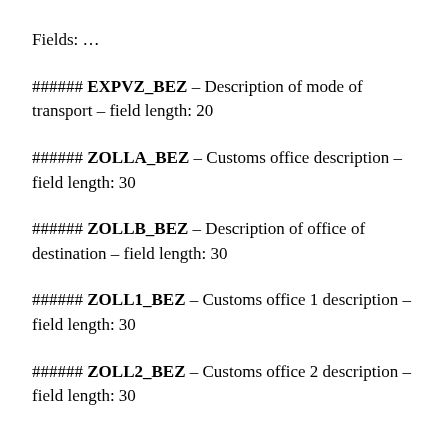Fields: …
###### EXPVZ_BEZ – Description of mode of transport – field length: 20
###### ZOLLA_BEZ – Customs office description – field length: 30
###### ZOLLB_BEZ – Description of office of destination – field length: 30
###### ZOLL1_BEZ – Customs office 1 description – field length: 30
###### ZOLL2_BEZ – Customs office 2 description – field length: 30